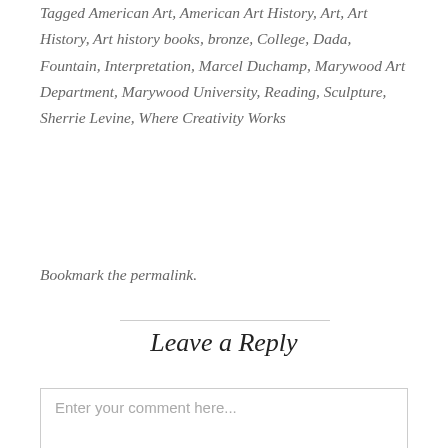Tagged American Art, American Art History, Art, Art History, Art history books, bronze, College, Dada, Fountain, Interpretation, Marcel Duchamp, Marywood Art Department, Marywood University, Reading, Sculpture, Sherrie Levine, Where Creativity Works
Bookmark the permalink.
Leave a Reply
Enter your comment here...
This site uses Akismet to reduce spam. Learn how your comment data is processed.